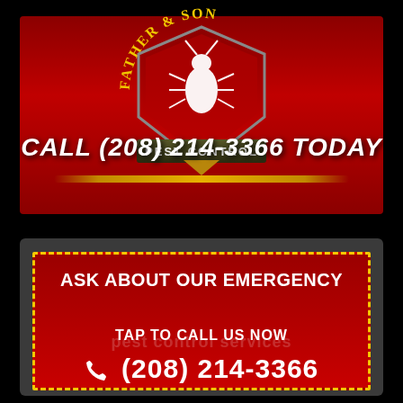[Figure (logo): Father & Son Pest Control logo: shield shape with red background, white bug silhouette, gold text 'FATHER & SON' arc at top, banner 'PEST CONTROL' at bottom]
CALL (208) 214-3366 TODAY
ASK ABOUT OUR EMERGENCY
pest control services
TAP TO CALL US NOW
(208) 214-3366